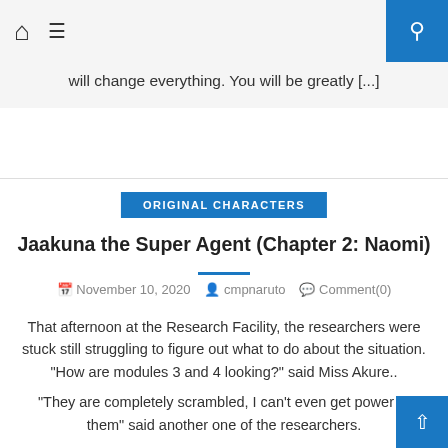🏠 ☰ [search icon]
will change everything. You will be greatly [...]
ORIGINAL CHARACTERS
Jaakuna the Super Agent (Chapter 2: Naomi)
November 10, 2020   cmpnaruto   Comment(0)
That afternoon at the Research Facility, the researchers were stuck still struggling to figure out what to do about the situation. "How are modules 3 and 4 looking?" said Miss Akure..
"They are completely scrambled, I can't even get power to them" said another one of the researchers.
"Man, this place is trashed. All of that hard work gone."
"We'll have to get a detective involved in this one, this is serious" said